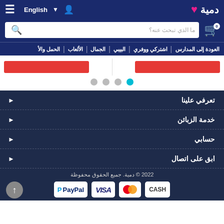English ▼ 👤  دمية ❤ ☰
[Figure (screenshot): Search bar with placeholder text 'ما الذي تبحث عنه؟' and cart icon showing 0]
العودة إلى المدارس | اشتركي ووفري | البيبي | الجمال | الألعاب | الحمل والأ
[Figure (screenshot): Carousel navigation dots: 3 grey dots and 1 active cyan/blue dot, with two red buttons visible]
تعرفي علينا
خدمة الزبائن
حسابي
ابق على اتصال
2022 © دمية. جميع الحقوق محفوظة
[Figure (infographic): Payment method logos: PayPal, VISA, Mastercard, CASH]